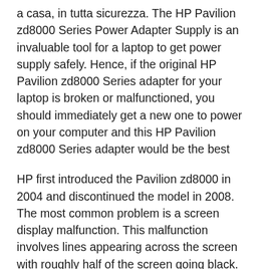a casa, in tutta sicurezza. The HP Pavilion zd8000 Series Power Adapter Supply is an invaluable tool for a laptop to get power supply safely. Hence, if the original HP Pavilion zd8000 Series adapter for your laptop is broken or malfunctioned, you should immediately get a new one to power on your computer and this HP Pavilion zd8000 Series adapter would be the best
HP first introduced the Pavilion zd8000 in 2004 and discontinued the model in 2008. The most common problem is a screen display malfunction. This malfunction involves lines appearing across the screen with roughly half of the screen going black. Description.